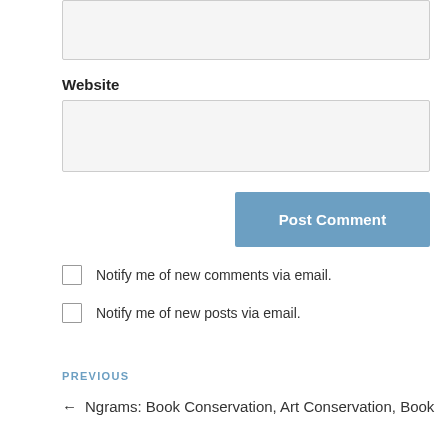Website
Post Comment
Notify me of new comments via email.
Notify me of new posts via email.
PREVIOUS
← Ngrams: Book Conservation, Art Conservation, Book